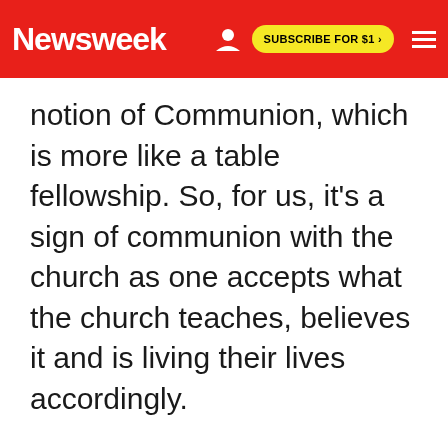Newsweek
notion of Communion, which is more like a table fellowship. So, for us, it's a sign of communion with the church as one accepts what the church teaches, believes it and is living their lives accordingly.